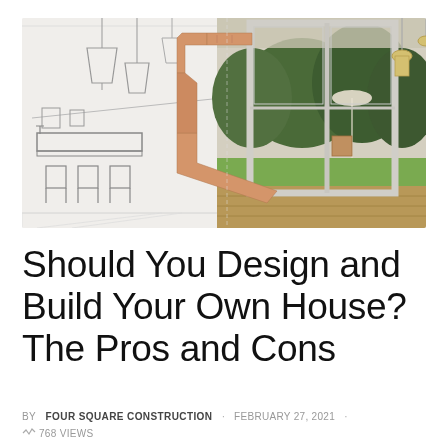[Figure (photo): Split image showing architectural sketch of a kitchen on the left transitioning to a real photo of a modern room with large glass sliding doors opening to a garden on the right, with a hand forming a frame gesture in the middle foreground]
Should You Design and Build Your Own House? The Pros and Cons
BY FOUR SQUARE CONSTRUCTION · FEBRUARY 27, 2021 · 768 VIEWS